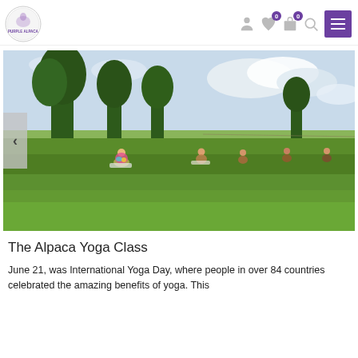Purple Alpaca — navigation header with logo, cart icons, and menu
[Figure (photo): Outdoor yoga class in a green grassy field with large trees in the background and a partly cloudy sky. Multiple people are seated on yoga mats. A left carousel arrow is visible on the left edge.]
The Alpaca Yoga Class
June 21, was International Yoga Day, where people in over 84 countries celebrated the amazing benefits of yoga. This